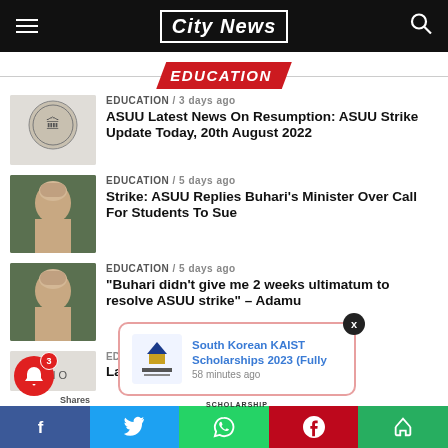City News
EDUCATION
EDUCATION / 3 days ago
ASUU Latest News On Resumption: ASUU Strike Update Today, 20th August 2022
EDUCATION / 5 days ago
Strike: ASUU Replies Buhari's Minister Over Call For Students To Sue
EDUCATION / 5 days ago
“Buhari didn’t give me 2 weeks ultimatum to resolve ASUU strike” – Adamu
South Korean KAIST Scholarships 2023 (Fully
58 minutes ago